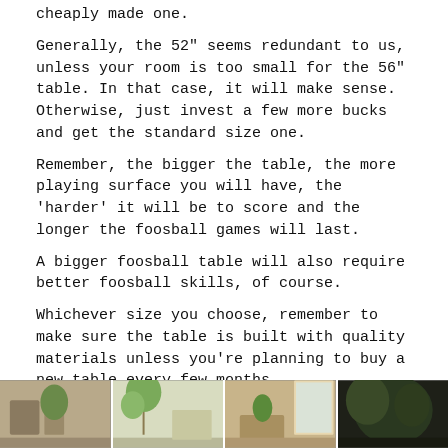cheaply made one.
Generally, the 52" seems redundant to us, unless your room is too small for the 56" table. In that case, it will make sense. Otherwise, just invest a few more bucks and get the standard size one.
Remember, the bigger the table, the more playing surface you will have, the 'harder' it will be to score and the longer the foosball games will last.
A bigger foosball table will also require better foosball skills, of course.
Whichever size you choose, remember to make sure the table is built with quality materials unless you're planning to buy a new table every few months.
Now that we got that covered, lets wrap this up with the bottom line.
[Figure (photo): Strip of three or four photos at the bottom of the page, showing room interiors with plants and furniture.]